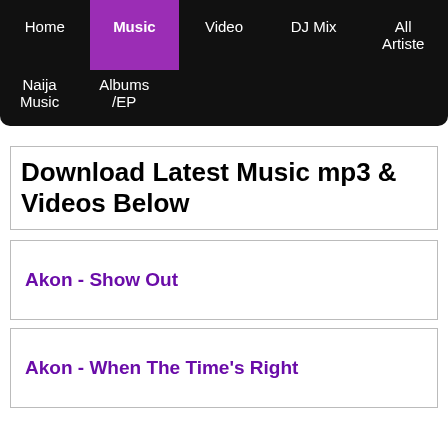Home | Music | Video | DJ Mix | All Artiste | Naija Music | Albums/EP
Download Latest Music mp3 & Videos Below
Akon - Show Out
Akon - When The Time's Right